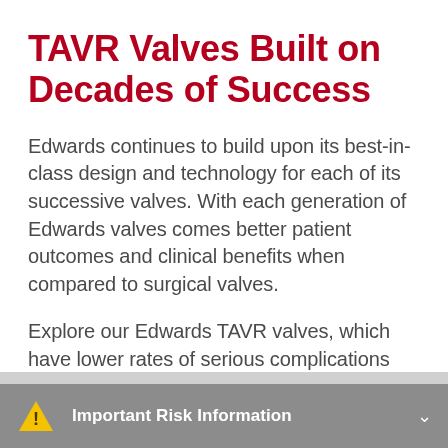TAVR Valves Built on Decades of Success
Edwards continues to build upon its best-in-class design and technology for each of its successive valves. With each generation of Edwards valves comes better patient outcomes and clinical benefits when compared to surgical valves.
Explore our Edwards TAVR valves, which have lower rates of serious complications when compared to surgical valves.
Important Risk Information